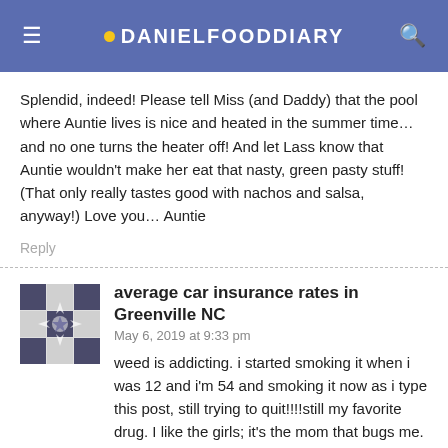DANIELFOODDIARY
Splendid, indeed! Please tell Miss (and Daddy) that the pool where Auntie lives is nice and heated in the summer time… and no one turns the heater off! And let Lass know that Auntie wouldn't make her eat that nasty, green pasty stuff! (That only really tastes good with nachos and salsa, anyway!) Love you… Auntie
Reply
average car insurance rates in Greenville NC
May 6, 2019 at 9:33 pm
weed is addicting. i started smoking it when i was 12 and i'm 54 and smoking it now as i type this post, still trying to quit!!!!still my favorite drug. I like the girls; it's the mom that bugs me. She wants to be a star so bad, they can't take a good photo of her plus the videography and editing on Kendra, Kardhashians and this show ABSOLUTELY SUCKS. Most irritating